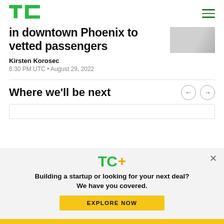TechCrunch
in downtown Phoenix to vetted passengers
Kirsten Korosec
6:30 PM UTC • August 29, 2022
Where we'll be next
[Figure (other): TC+ subscription modal with logo, tagline, and Explore Now button]
Building a startup or looking for your next deal? We have you covered.